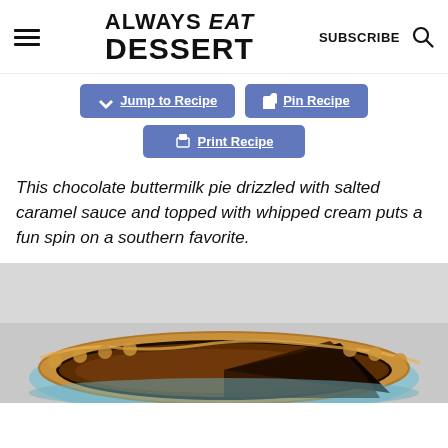ALWAYS eat DESSERT | SUBSCRIBE
[Figure (infographic): Three blue buttons: 'Jump to Recipe', 'Pin Recipe', 'Print Recipe']
This chocolate buttermilk pie drizzled with salted caramel sauce and topped with whipped cream puts a fun spin on a southern favorite.
[Figure (photo): Photo of a chocolate buttermilk pie in a blue glass dish, showing a slice removed, with a golden-brown crimped crust and dark chocolate filling, on a light grey background.]